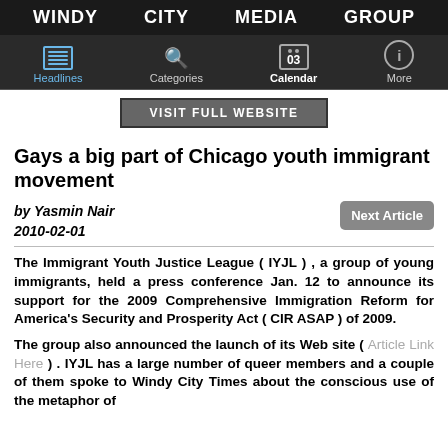WINDY CITY MEDIA GROUP
Headlines | Categories | Calendar | More
VISIT FULL WEBSITE
Gays a big part of Chicago youth immigrant movement
by Yasmin Nair
2010-02-01
The Immigrant Youth Justice League ( IYJL ) , a group of young immigrants, held a press conference Jan. 12 to announce its support for the 2009 Comprehensive Immigration Reform for America's Security and Prosperity Act ( CIR ASAP ) of 2009.
The group also announced the launch of its Web site ( Article Link Here ) . IYJL has a large number of queer members and a couple of them spoke to Windy City Times about the conscious use of the metaphor of